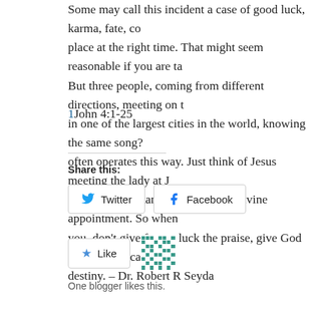Some may call this incident a case of good luck, karma, fate, co… place at the right time. That might seem reasonable if you are ta… But three people, coming from different directions, meeting on … in one of the largest cities in the world, knowing the same song?… often operates this way. Just think of Jesus meeting the lady at J… wasn't happenstance. That was by divine appointment. So when… you, don't give fate or luck the praise, give God the praise beca… destiny. – Dr. Robert R Seyda
1John 4:1-25
Share this:
Twitter   Facebook
Like
One blogger likes this.